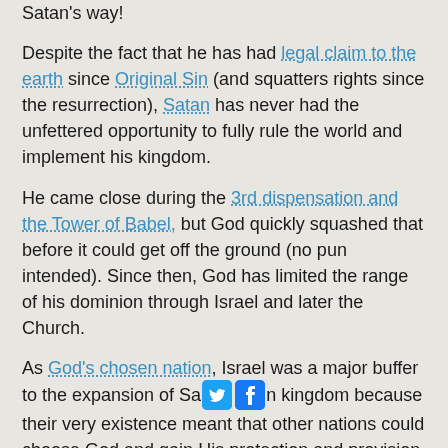Satan's way!
Despite the fact that he has had legal claim to the earth since Original Sin (and squatters rights since the resurrection), Satan has never had the unfettered opportunity to fully rule the world and implement his kingdom.
He came close during the 3rd dispensation and the Tower of Babel, but God quickly squashed that before it could get off the ground (no pun intended). Since then, God has limited the range of his dominion through Israel and later the Church.
As God's chosen nation, Israel was a major buffer to the expansion of Satan's kingdom because their very existence meant that other nations could choose God and gain His protection and provision (which occasionally happened – with Egypt and Nineveh